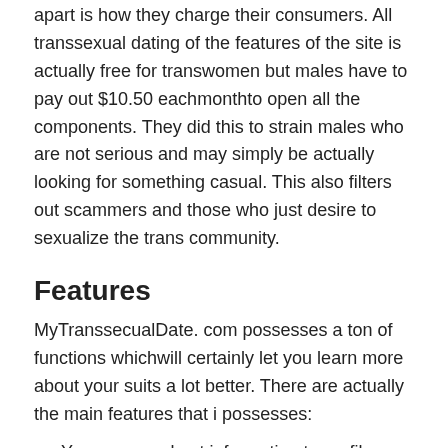apart is how they charge their consumers. All transsexual dating of the features of the site is actually free for transwomen but males have to pay out $10.50 eachmonthto open all the components. They did this to strain males who are not serious and may simply be actually looking for something casual. This also filters out scammers and those who just desire to sexualize the trans community.
Features
MyTranssecualDate. com possesses a ton of functions whichwill certainly let you learn more about your suits a lot better. There are actually the main features that i possesses:
You may send out information to profile pages you want. Nevertheless, this feature is actually simply free for transwomen as well as men need to have to have a premium profile.
They perform certainly not matchyou utilizing algorithm